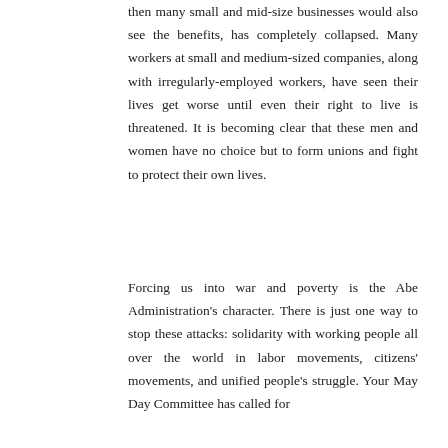then many small and mid-size businesses would also see the benefits, has completely collapsed. Many workers at small and medium-sized companies, along with irregularly-employed workers, have seen their lives get worse until even their right to live is threatened. It is becoming clear that these men and women have no choice but to form unions and fight to protect their own lives.
Forcing us into war and poverty is the Abe Administration's character. There is just one way to stop these attacks: solidarity with working people all over the world in labor movements, citizens' movements, and unified people's struggle. Your May Day Committee has called for